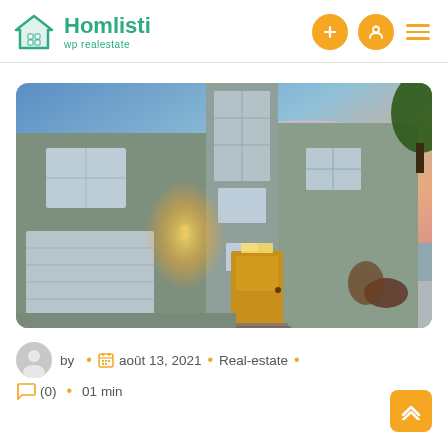Homlisti wp realestate
[Figure (photo): Exterior of a modern two-story residential home at dusk with warm entry lighting, garage door, yellow front door, and colorful sunset sky in background]
by • août 13, 2021 • Real-estate • (0) • 01 min